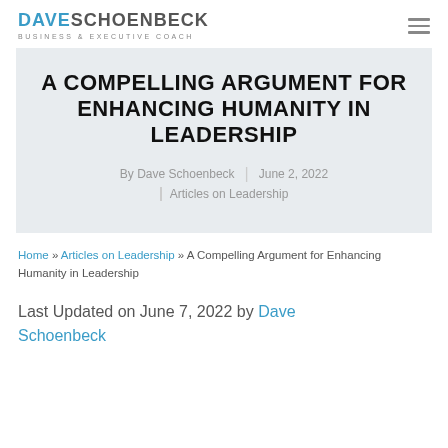DAVE SCHOENBECK — Business & Executive Coach
A COMPELLING ARGUMENT FOR ENHANCING HUMANITY IN LEADERSHIP
By Dave Schoenbeck | June 2, 2022 | Articles on Leadership
Home » Articles on Leadership » A Compelling Argument for Enhancing Humanity in Leadership
Last Updated on June 7, 2022 by Dave Schoenbeck